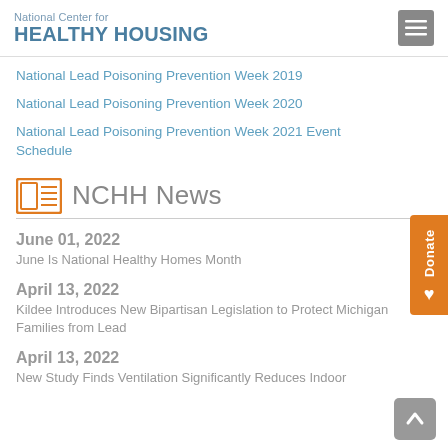National Center for HEALTHY HOUSING
National Lead Poisoning Prevention Week 2019
National Lead Poisoning Prevention Week 2020
National Lead Poisoning Prevention Week 2021 Event Schedule
NCHH News
June 01, 2022
June Is National Healthy Homes Month
April 13, 2022
Kildee Introduces New Bipartisan Legislation to Protect Michigan Families from Lead
April 13, 2022
New Study Finds Ventilation Significantly Reduces Indoor Pollutants and could be Money Saving for Cities